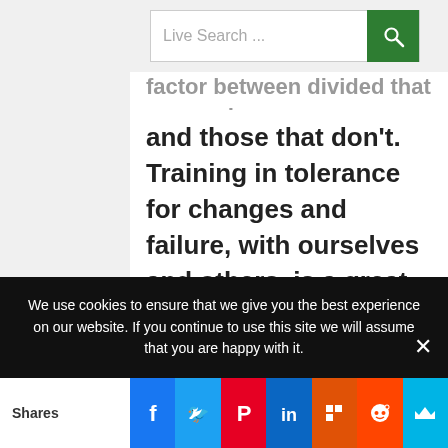Live Search ...
factor between divided that succeeds and those that don't. Training in tolerance for changes and failure, with ourselves and others, is a great way to constantly be in sync with the bigger picture.
We use cookies to ensure that we give you the best experience on our website. If you continue to use this site we will assume that you are happy with it.
Shares | Facebook | Twitter | Pinterest | LinkedIn | Flipboard | Reddit | Mix